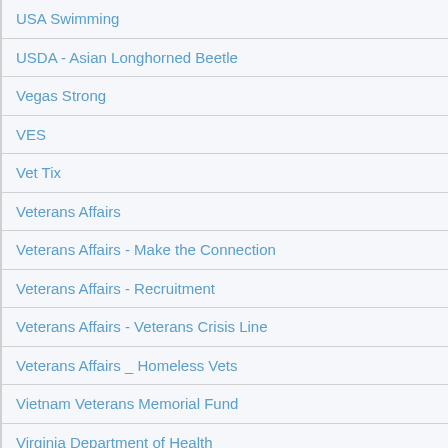USA Swimming
USDA - Asian Longhorned Beetle
Vegas Strong
VES
Vet Tix
Veterans Affairs
Veterans Affairs - Make the Connection
Veterans Affairs - Recruitment
Veterans Affairs - Veterans Crisis Line
Veterans Affairs _ Homeless Vets
Vietnam Veterans Memorial Fund
Virginia Department of Health
Where Good Things Grow
Wild Aid
WomenHeart